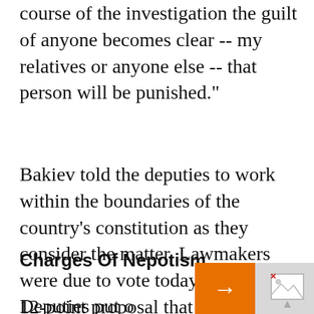course of the investigation the guilt of anyone becomes clear -- my relatives or anyone else -- that person will be punished."
Bakiev told the deputies to work within the boundaries of the country's constitution as they consider the matter. Lawmakers were due to vote today on a 12-point proposal that includes a demand for Bakiev and Prime Minister Feliks Kulov to resign.
Charges Of Nepotism
Deputies put o... the deputies th... Bakiev and Ku...
[Figure (other): Related article panel with orange arrow button, broken image placeholder, and text: 'We Breathe Filth': A Bulgarian Town's Losing Battle Against A Domineering Coal Plant]